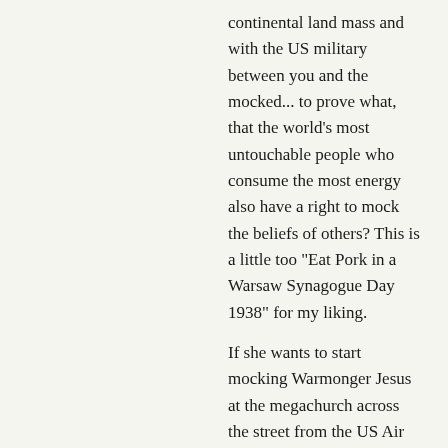continental land mass and with the US military between you and the mocked... to prove what, that the world's most untouchable people who consume the most energy also have a right to mock the beliefs of others? This is a little too "Eat Pork in a Warsaw Synagogue Day 1938" for my liking.

If she wants to start mocking Warmonger Jesus at the megachurch across the street from the US Air Force Academy, that seems like a good way to get some attention and focus it on the madness and hypocrisy of our own society. I'll contribute to the art supplies fund. Not a particularly good way to win converts to the anti-war cause but at least a better exercise in seeing just what America's commitment to free speech is exactly. Maybe she could try getting a protest sign anywhere near GW Bush. If she wants to travel to Saudi and organize a